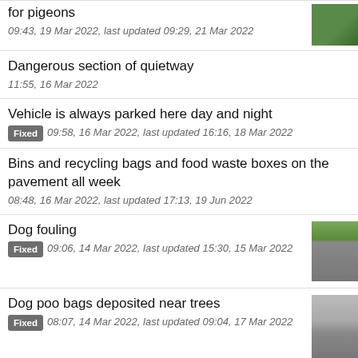for pigeons
09:43, 19 Mar 2022, last updated 09:29, 21 Mar 2022
Dangerous section of quietway
11:55, 16 Mar 2022
Vehicle is always parked here day and night
Fixed 09:58, 16 Mar 2022, last updated 16:16, 18 Mar 2022
Bins and recycling bags and food waste boxes on the pavement all week
08:48, 16 Mar 2022, last updated 17:13, 19 Jun 2022
Dog fouling
Fixed 09:06, 14 Mar 2022, last updated 15:30, 15 Mar 2022
Dog poo bags deposited near trees
Fixed 08:07, 14 Mar 2022, last updated 09:04, 17 Mar 2022
Dog excrement
Fixed 12:40, 12 Mar 2022, last updated 11:20, 14 Mar 2022